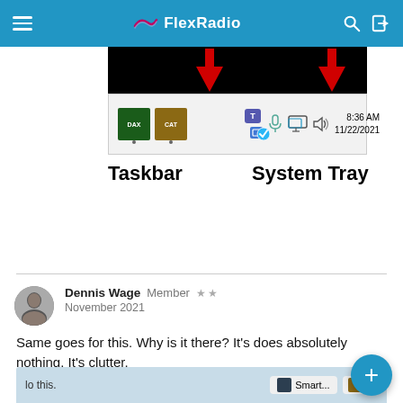FlexRadio
[Figure (screenshot): Screenshot of Windows taskbar showing DAX and CAT application icons in the taskbar and system tray icons with time 8:36 AM 11/22/2021. Red arrows point to icons in the black area above.]
Taskbar   System Tray
Same goes for this. Why is it there? It's does absolutely nothing. It's clutter.
[Figure (screenshot): Partial screenshot showing Smart... and another application icon in a dialog box on a blue-tinted background with text 'lo this.']